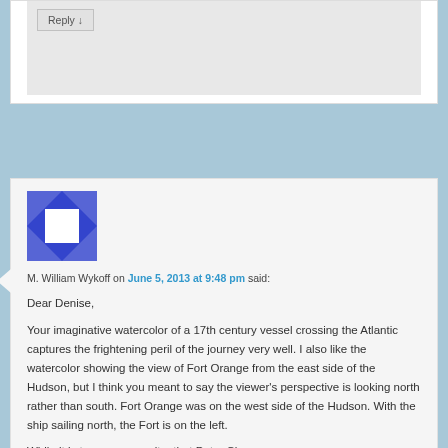[Figure (screenshot): Top portion of a blog comment section showing a Reply button on a gray background]
[Figure (illustration): Blue and white geometric/quilt-pattern avatar image for M. William Wykoff]
M. William Wykoff on June 5, 2013 at 9:48 pm said:
Dear Denise,
Your imaginative watercolor of a 17th century vessel crossing the Atlantic captures the frightening peril of the journey very well. I also like the watercolor showing the view of Fort Orange from the east side of the Hudson, but I think you meant to say the viewer's perspective is looking north rather than south. Fort Orange was on the west side of the Hudson. With the ship sailing north, the Fort is on the left.
While it is true, as you write, that Peter Claessen